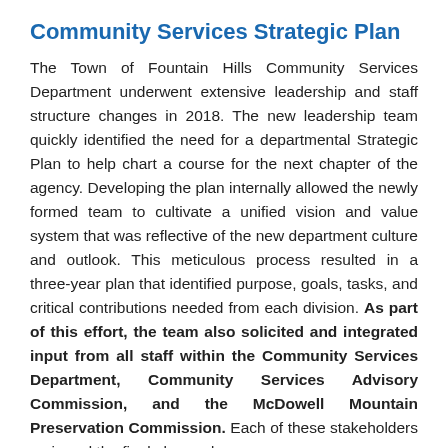Community Services Strategic Plan
The Town of Fountain Hills Community Services Department underwent extensive leadership and staff structure changes in 2018. The new leadership team quickly identified the need for a departmental Strategic Plan to help chart a course for the next chapter of the agency. Developing the plan internally allowed the newly formed team to cultivate a unified vision and value system that was reflective of the new department culture and outlook. This meticulous process resulted in a three-year plan that identified purpose, goals, tasks, and critical contributions needed from each division. As part of this effort, the team also solicited and integrated input from all staff within the Community Services Department, Community Services Advisory Commission, and the McDowell Mountain Preservation Commission. Each of these stakeholders reviewed the final plan and